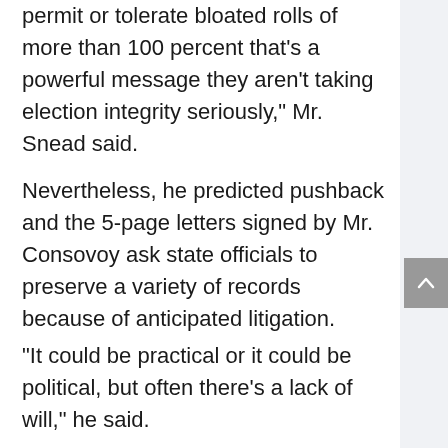permit or tolerate bloated rolls of more than 100 percent that’s a powerful message they aren’t taking election integrity seriously,” Mr. Snead said.
Nevertheless, he predicted pushback and the 5-page letters signed by Mr. Consovoy ask state officials to preserve a variety of records because of anticipated litigation.
“It could be practical or it could be political, but often there’s a lack of will,” he said.